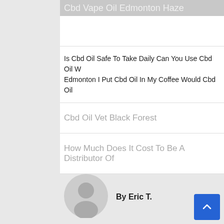Cbd Vape Oil Edmonton Haze
Is Cbd Oil Safe To Take Daily Can You Use Cbd Oil W... Edmonton I Put Cbd Oil In My Coffee Would Cbd Oil...
Cbd Oil Vet Black Forest
How Much Does It Cost To Be A Distributor Of...
By Eric T.